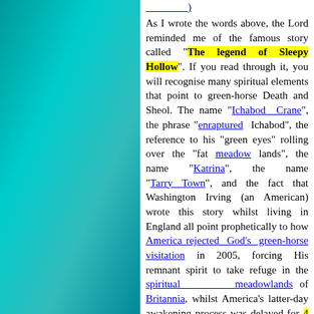As I wrote the words above, the Lord reminded me of the famous story called "The legend of Sleepy Hollow". If you read through it, you will recognise many spiritual elements that point to green-horse Death and Sheol. The name "Ichabod Crane", the phrase "enraptured Ichabod", the reference to his "green eyes" rolling over the "fat meadow lands", the name "Katrina", the name "Tarry Town", and the fact that Washington Irving (an American) wrote this story whilst living in England all point prophetically to how America rejected God's green-horse visitation in 2005, forcing His remnant spirit to take refuge in the spiritual meadowlands of Britannia, whilst America's latter-day awakening process was delayed for 4 years. Without